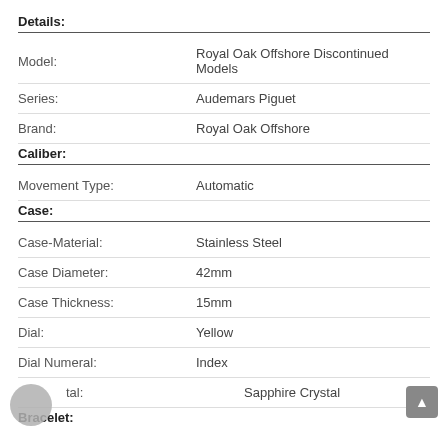Details:
| Model: | Royal Oak Offshore Discontinued Models |
| Series: | Audemars Piguet |
| Brand: | Royal Oak Offshore |
Caliber:
| Movement Type: | Automatic |
Case:
| Case-Material: | Stainless Steel |
| Case Diameter: | 42mm |
| Case Thickness: | 15mm |
| Dial: | Yellow |
| Dial Numeral: | Index |
| Crystal: | Sapphire Crystal |
Bracelet: